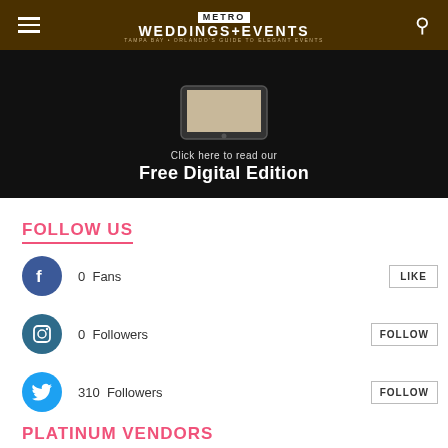METRO WEDDINGS+EVENTS TAMPA BAY + ORLANDO'S GUIDE TO ELEGANT EVENTS
[Figure (illustration): Dark banner with a tablet device and text 'Click here to read our Free Digital Edition']
FOLLOW US
0  Fans — LIKE
0  Followers — FOLLOW
310  Followers — FOLLOW
PLATINUM VENDORS